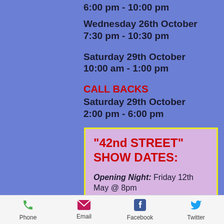6:00 pm - 10:00 pm
Wednesday 26th October
7:30 pm - 10:30 pm
Saturday 29th October
10:00 am - 1:00 pm
CALL BACKS
Saturday 29th October
2:00 pm - 6:00 pm
"42nd STREET" SHOW DATES:
Opening Night: Friday 12th May @ 8pm
Saturday 13th May @ 2pm & 8pm
Phone  Email  Facebook  Twitter